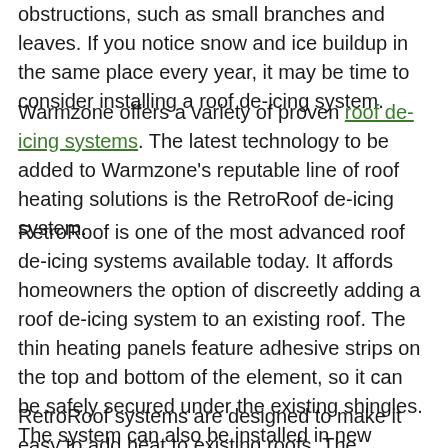obstructions, such as small branches and leaves. If you notice snow and ice buildup in the same place every year, it may be time to consider installing a roof de-icing system.
Warmzone offers a variety of proven roof de-icing systems. The latest technology to be added to Warmzone's reputable line of roof heating solutions is the RetroRoof de-icing system.
RetroRoof is one of the most advanced roof de-icing systems available today. It affords homeowners the option of discreetly adding a roof de-icing system to an existing roof. The thin heating panels feature adhesive strips on the top and bottom of the element, so it can be safely secured under the existing shingles. The system can also be installed in new construction applications, making RetroRoof an excellent solution for ice dam prevention on both new and existing roofs.
RetroRoof systems are designed to make it easy to add heat to existing roofs. The system's modular design allows the installer